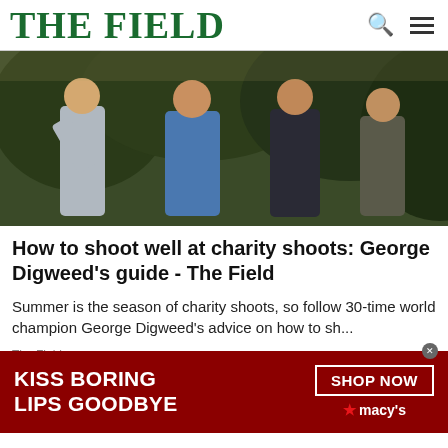THE FIELD
[Figure (photo): Group of men at a charity clay pigeon shooting event, looking upward at targets in an outdoor wooded setting]
How to shoot well at charity shoots: George Digweed's guide - The Field
Summer is the season of charity shoots, so follow 30-time world champion George Digweed's advice on how to sh...
The Field
[Figure (photo): Close-up of a woman wearing a wide-brimmed metallic hat with red lips, used in a Macy's advertisement banner]
KISS BORING LIPS GOODBYE
SHOP NOW ★ macy's